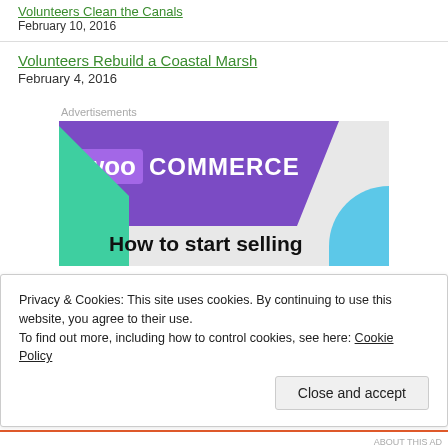Volunteers Clean the Canals
February 10, 2016
Volunteers Rebuild a Coastal Marsh
February 4, 2016
Advertisements
[Figure (screenshot): WooCommerce advertisement banner showing the WooCommerce logo on a purple background with teal and blue geometric shapes and text 'How to start selling']
Privacy & Cookies: This site uses cookies. By continuing to use this website, you agree to their use.
To find out more, including how to control cookies, see here: Cookie Policy
Close and accept